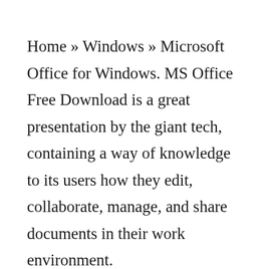Home » Windows » Microsoft Office for Windows. MS Office Free Download is a great presentation by the giant tech, containing a way of knowledge to its users how they edit, collaborate, manage, and share documents in their work environment.
A versatile range of tools that give easy access to your documents without any limitation of time, place, or device. The